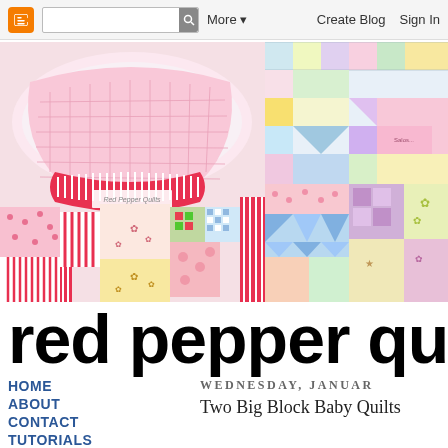Blogger toolbar with search, More, Create Blog, Sign In
[Figure (photo): Two quilting photos side by side: left shows folded colorful patchwork quilts with pink, red, and floral fabrics with a Red Pepper Quilts label; right shows a colorful patchwork quilt with triangles and squares in pastel colors]
red pepper qu...
HOME
ABOUT
CONTACT
TUTORIALS
WEDNESDAY, JANUAR...
Two Big Block Baby Quilts